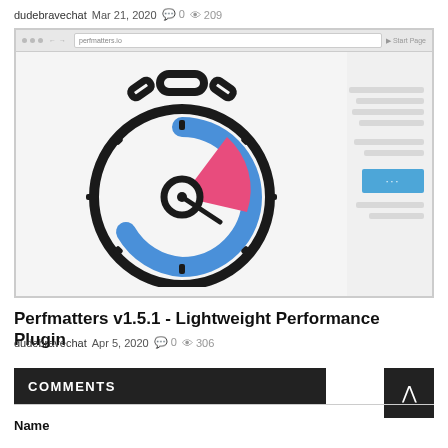dudebravechat  Mar 21, 2020  💬 0  👁 209
[Figure (screenshot): Screenshot of a browser window showing a performance timer/stopwatch icon in the center on a light gray background, with a blurred right sidebar containing gray placeholder lines and a blue button with three dots.]
Perfmatters v1.5.1 - Lightweight Performance Plugin
dudebravechat  Apr 5, 2020  💬 0  👁 306
COMMENTS
Name